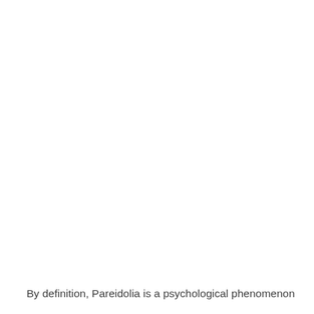By definition, Pareidolia is a psychological phenomenon